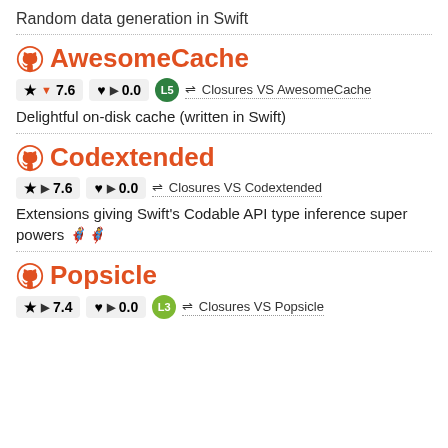Random data generation in Swift
AwesomeCache
★ ▼ 7.6   ♥ ▶ 0.0   L5   ⇌ Closures VS AwesomeCache
Delightful on-disk cache (written in Swift)
Codextended
★ ▶ 7.6   ♥ ▶ 0.0   ⇌ Closures VS Codextended
Extensions giving Swift's Codable API type inference super powers 🦸‍♂️🦸‍♀️
Popsicle
★ ▶ 7.4   ♥ ▶ 0.0   L3   ⇌ Closures VS Popsicle